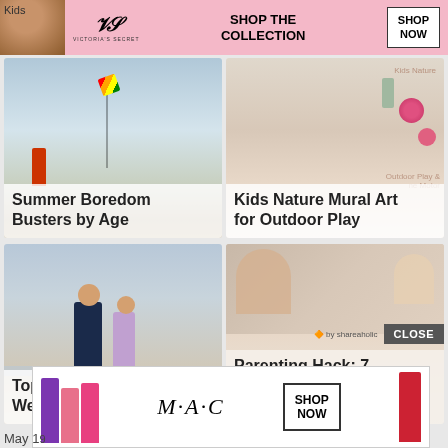[Figure (screenshot): Victoria's Secret advertisement banner with pink background, model face on left, VS logo, 'SHOP THE COLLECTION' text, and 'SHOP NOW' button]
[Figure (photo): Person flying a rainbow kite on a beach]
Summer Boredom Busters by Age
[Figure (photo): Child doing nature mural art for outdoor play]
Kids Nature Mural Art for Outdoor Play
[Figure (photo): Family (adult and child) walking on a beach from behind]
Top 10 Family Weekend Activities
[Figure (photo): Mother and child smiling outdoors]
Parenting Hack: 7 Ways to Prevent Summer Slide
by shareaholic
[Figure (screenshot): MAC cosmetics advertisement with lipsticks and SHOP NOW button]
May 1